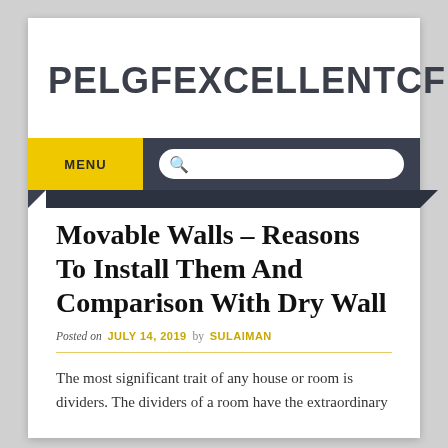PELGFEXCELLENTCF
Movable Walls – Reasons To Install Them And Comparison With Dry Wall
Posted on JULY 14, 2019 by SULAIMAN
The most significant trait of any house or room is dividers. The dividers of a room have the extraordinary